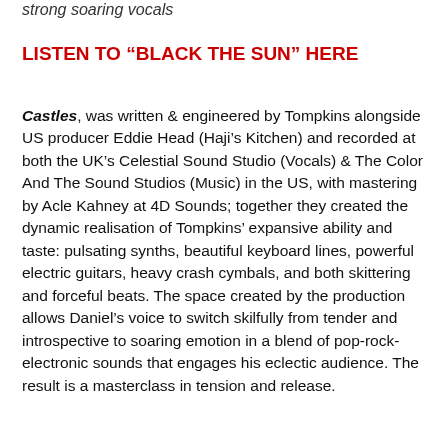strong soaring vocals
LISTEN TO “BLACK THE SUN” HERE
Castles, was written & engineered by Tompkins alongside US producer Eddie Head (Haji’s Kitchen) and recorded at both the UK’s Celestial Sound Studio (Vocals) & The Color And The Sound Studios (Music) in the US, with mastering by Acle Kahney at 4D Sounds; together they created the dynamic realisation of Tompkins’ expansive ability and taste: pulsating synths, beautiful keyboard lines, powerful electric guitars, heavy crash cymbals, and both skittering and forceful beats. The space created by the production allows Daniel’s voice to switch skilfully from tender and introspective to soaring emotion in a blend of pop-rock-electronic sounds that engages his eclectic audience. The result is a masterclass in tension and release.